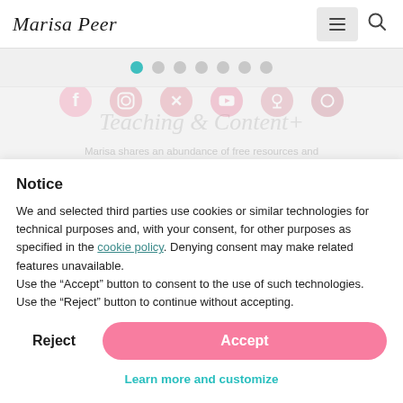Marisa Peer
[Figure (other): Carousel pagination dots — 7 dots with the first one highlighted in teal/cyan]
Notice
We and selected third parties use cookies or similar technologies for technical purposes and, with your consent, for other purposes as specified in the cookie policy. Denying consent may make related features unavailable.
Use the “Accept” button to consent to the use of such technologies. Use the “Reject” button to continue without accepting.
Reject
Accept
Learn more and customize